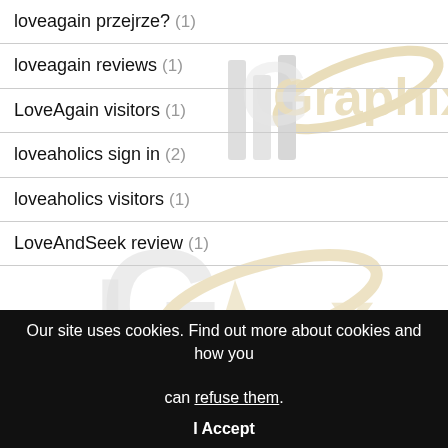loveagain przejrze? (1)
loveagain reviews (1)
LoveAgain visitors (1)
loveaholics sign in (2)
loveaholics visitors (1)
LoveAndSeek review (1)
Our site uses cookies. Find out more about cookies and how you can refuse them.
I Accept